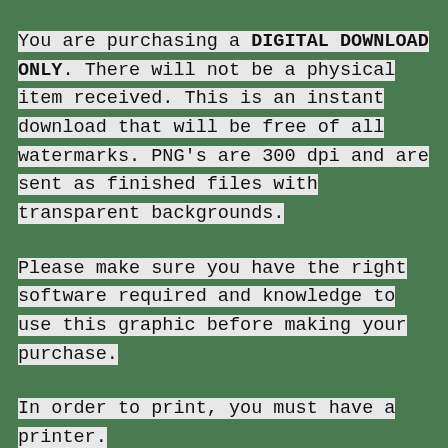You are purchasing a DIGITAL DOWNLOAD ONLY. There will not be a physical item received. This is an instant download that will be free of all watermarks. PNG's are 300 dpi and are sent as finished files with transparent backgrounds.
Please make sure you have the right software required and knowledge to use this graphic before making your purchase.
In order to print, you must have a printer.
By purchasing the digital design, you may print